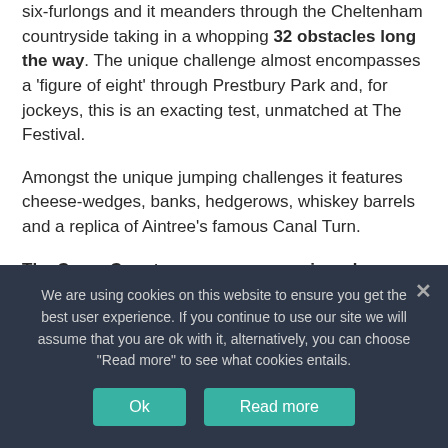six-furlongs and it meanders through the Cheltenham countryside taking in a whopping 32 obstacles long the way. The unique challenge almost encompasses a 'figure of eight' through Prestbury Park and, for jockeys, this is an exacting test, unmatched at The Festival.
Amongst the unique jumping challenges it features cheese-wedges, banks, hedgerows, whiskey barrels and a replica of Aintree's famous Canal Turn.
The Cross Country race was once viewed as something of a novelty at the Cheltenham Festival, but it has secured its own
We are using cookies on this website to ensure you get the best user experience. If you continue to use our site we will assume that you are ok with it, alternatively, you can choose "Read more" to see what cookies entails.